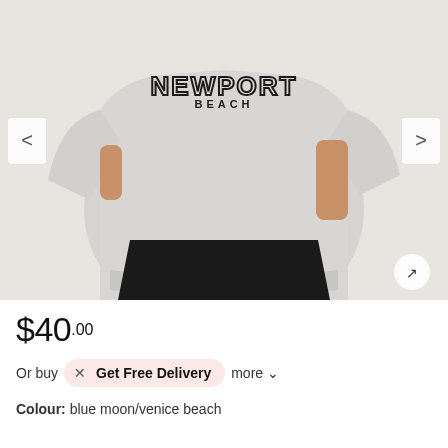[Figure (photo): Model wearing a light grey marl sweatshirt with 'NEW PORT BEACH' text graphic on chest, paired with black shorts. Photo shows torso area only. Navigation arrows on left and right sides, expand icon bottom right.]
$40.00
Or buy  ×  Get Free Delivery  more ∨
Colour: blue moon/venice beach